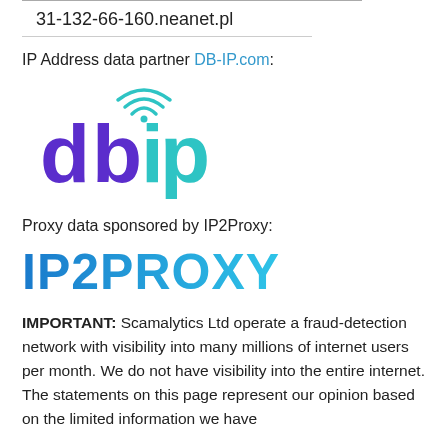31-132-66-160.neanet.pl
IP Address data partner DB-IP.com:
[Figure (logo): DB-IP logo with 'dbip' text in purple and teal with wifi signal arcs above the 'i' dot]
Proxy data sponsored by IP2Proxy:
[Figure (logo): IP2PROXY logo in bold blue gradient text]
IMPORTANT: Scamalytics Ltd operate a fraud-detection network with visibility into many millions of internet users per month. We do not have visibility into the entire internet. The statements on this page represent our opinion based on the limited information we have